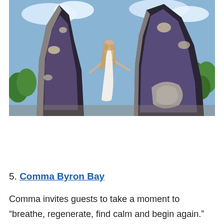[Figure (photo): A woman in a white dress standing between two massive amethyst geode formations outdoors, with green trees and blue sky in the background.]
5. Comma Byron Bay
Comma invites guests to take a moment to
“breathe, regenerate, find calm and begin again.”